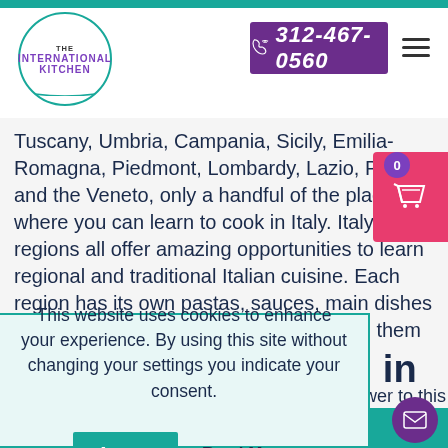The International Kitchen | 312-467-0560
Tuscany, Umbria, Campania, Sicily, Emilia-Romagna, Piedmont, Lombardy, Lazio, Puglia, and the Veneto, only a handful of the places where you can learn to cook in Italy. Italy's 20 regions all offer amazing opportunities to learn regional and traditional Italian cuisine. Each region has its own pastas, sauces, main dishes and desserts, and you will learn to make them on our cooking courses in Italy.
food in
answer to this
f Bologna has
of the culinary
region in
This website uses cookies to enhance your experience. By using this site without changing your settings you indicate your consent.
Accept
Read More